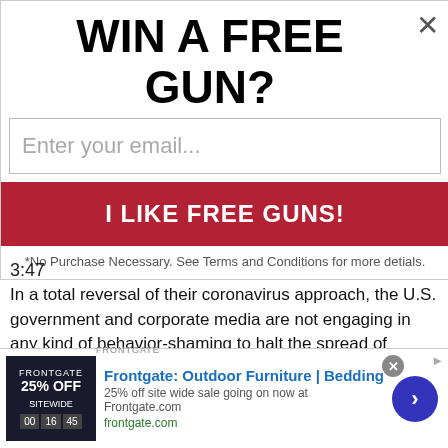WIN A FREE GUN?
Enter your email...
I LIKE FREE GUNS!
*No Purchase Necessary. See Terms and Conditions for more detials.
3:47
In a total reversal of their coronavirus approach, the U.S. government and corporate media are not engaging in any kind of behavior-shaming to halt the spread of monkeypox.
Gee, I wonder why?
During the China Flu pandemic, we were shamed for leaving our homes, going to the beach, opening schools, gathering to worship God, standing together, hugging, attending funerals, visiting nursing homes, allowing a mask to slip under our nose
Frontgate: Outdoor Furniture | Bedding
25% off site wide sale going on now at Frontgate.com
frontgate.com